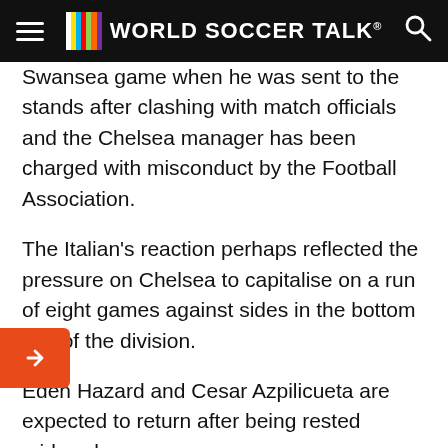WORLD SOCCER TALK
Swansea game when he was sent to the stands after clashing with match officials and the Chelsea manager has been charged with misconduct by the Football Association.
The Italian's reaction perhaps reflected the pressure on Chelsea to capitalise on a run of eight games against sides in the bottom half of the division.
Eden Hazard and Cesar Azpilicueta are expected to return after being rested midweek.
Rafa Benitez returns to Chelsea for the first time since leading the club to the Europa League title in 13, as the Spaniard's Newcastle side look to prove on a run of just one victory in 22 Premier